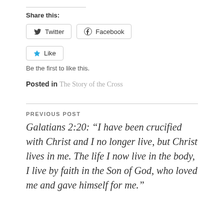Share this:
Twitter  Facebook
Like  Be the first to like this.
Posted in The Story of the Cross
PREVIOUS POST
Galatians 2:20: “I have been crucified with Christ and I no longer live, but Christ lives in me. The life I now live in the body, I live by faith in the Son of God, who loved me and gave himself for me.”